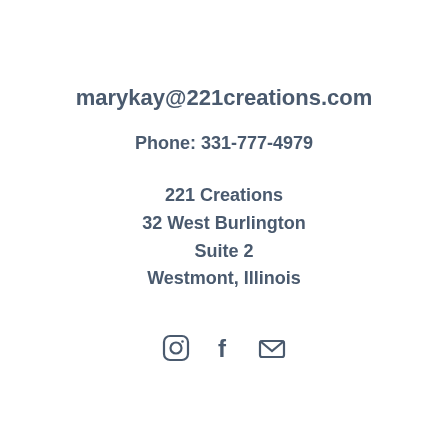marykay@221creations.com
Phone: 331-777-4979
221 Creations
32 West Burlington
Suite 2
Westmont, Illinois
[Figure (illustration): Three social media icons: Instagram, Facebook, and email/envelope icons in dark slate color]